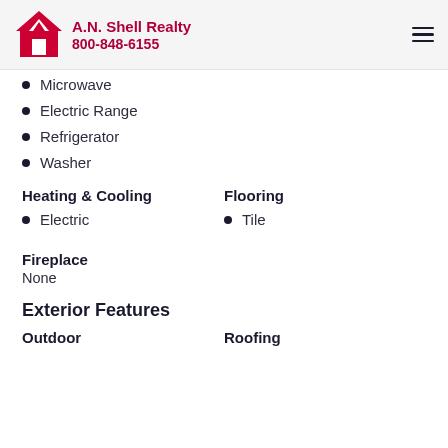A.N. Shell Realty 800-848-6155
Microwave
Electric Range
Refrigerator
Washer
Heating & Cooling
Electric
Flooring
Tile
Fireplace
None
Exterior Features
Outdoor
Roofing